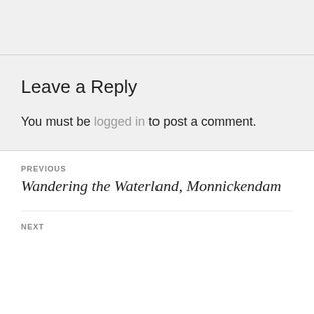Leave a Reply
You must be logged in to post a comment.
PREVIOUS
Wandering the Waterland, Monnickendam
NEXT